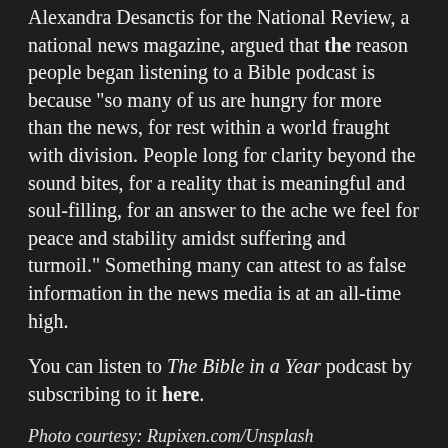Alexandra Desanctis for the National Review, a national news magazine, argued that the reason people began listening to a Bible podcast is because “so many of us are hungry for more than the news, for rest within a world fraught with division. People long for clarity beyond the sound bites, for a reality that is meaningful and soul-filling, for an answer to the ache we feel for peace and stability amidst suffering and turmoil.” Something many can attest to as false information in the news media is at an all-time high.
You can listen to The Bible in a Year podcast by subscribing to it here.
Photo courtesy: Rupixen.com/Unsplash
John Paluska has been a contributor for Christian Headlines since 2016 and is the founder of The Daily